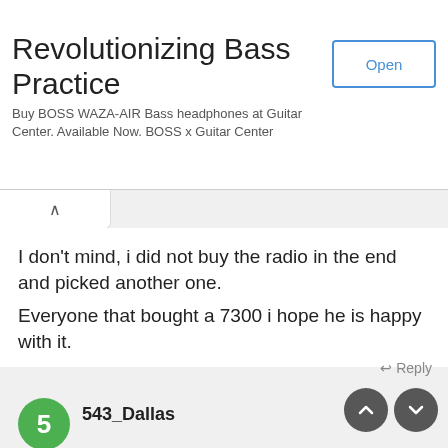[Figure (screenshot): Advertisement banner for BOSS WAZA-AIR Bass headphones at Guitar Center with Open button]
Revolutionizing Bass Practice
Buy BOSS WAZA-AIR Bass headphones at Guitar Center. Available Now. BOSS x Guitar Center
I don't mind, i did not buy the radio in the end and picked another one.
Everyone that bought a 7300 i hope he is happy with it.
↩ Reply
543_Dallas
This forum does not allow a single user to have more than one username. If anyone wants to change their username contact an admin and it will be done. Multiple accounts belonging to the same member will be deleted without warning.
haven't owned or u... t, yo... fi... folks that love one and hate the other. My main rig is an